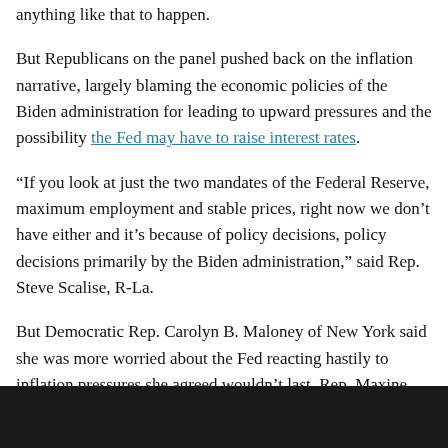anything like that to happen.
But Republicans on the panel pushed back on the inflation narrative, largely blaming the economic policies of the Biden administration for leading to upward pressures and the possibility the Fed may have to raise interest rates.
“If you look at just the two mandates of the Federal Reserve, maximum employment and stable prices, right now we don’t have either and it’s because of policy decisions, policy decisions primarily by the Biden administration,” said Rep. Steve Scalise, R-La.
But Democratic Rep. Carolyn B. Maloney of New York said she was more worried about the Fed reacting hastily to inflation pressures she agreed wouldn’t last. Rep. Maxine